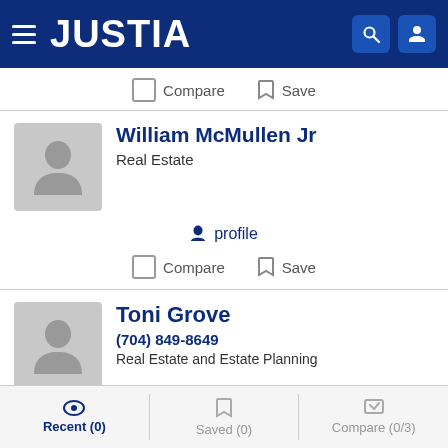JUSTIA
Compare  Save
William McMullen Jr
Real Estate
profile
Compare  Save
Toni Grove
(704) 849-8649
Real Estate and Estate Planning
profile
Recent (0)  Saved (0)  Compare (0/3)